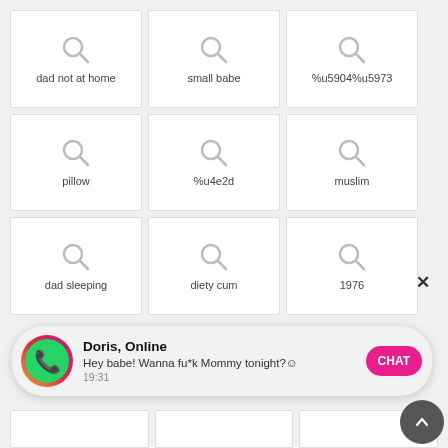[Figure (screenshot): Grid of search suggestion tiles each with a magnifying glass icon and label. Row 1: 'dad not at home', 'small babe', '%u5904%u5973'. Row 2: 'pillow', '%u4e2d', 'muslim'. Row 3: 'dad sleeping', 'diety cum', '1976'. Row 4: partial tiles. Overlay notification from 'Doris, Online' with WhatsApp-style icon, message 'Hey babe! Wanna fu*k Mommy tonight?☺ 19:31', and a pink CHAT button. Close X button and scroll-up button also visible.]